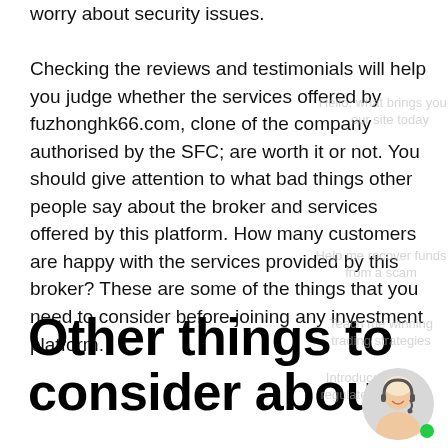worry about security issues.

Checking the reviews and testimonials will help you judge whether the services offered by fuzhonghk66.com, clone of the company authorised by the SFC; are worth it or not. You should give attention to what bad things other people say about the broker and services offered by this platform. How many customers are happy with the services provided by this broker? These are some of the things that you need to consider before joining any investment platform.
Other things to consider about
[Figure (other): Chat widget with a customer service agent avatar (woman with headset), a green online indicator dot, and watermark chat option labels overlaid on the page text.]